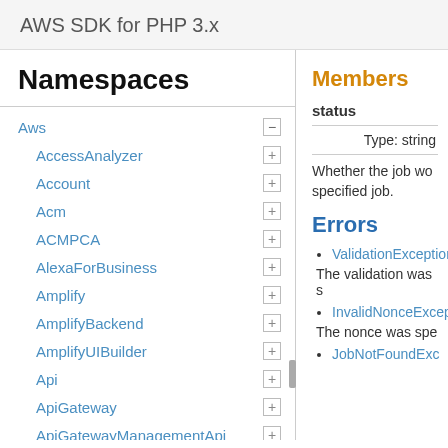AWS SDK for PHP 3.x
Namespaces
Aws
AccessAnalyzer
Account
Acm
ACMPCA
AlexaForBusiness
Amplify
AmplifyBackend
AmplifyUIBuilder
Api
ApiGateway
ApiGatewayManagementApi
Members
status
Type: string
Whether the job wo... specified job.
Errors
ValidationException
The validation was s...
InvalidNonceExcept...
The nonce was spe...
JobNotFoundExc...